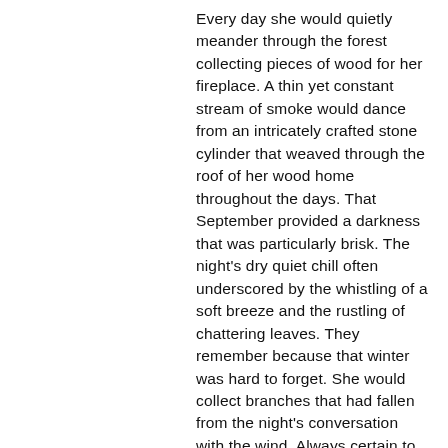Every day she would quietly meander through the forest collecting pieces of wood for her fireplace. A thin yet constant stream of smoke would dance from an intricately crafted stone cylinder that weaved through the roof of her wood home throughout the days. That September provided a darkness that was particularly brisk. The night's dry quiet chill often underscored by the whistling of a soft breeze and the rustling of chattering leaves. They remember because that winter was hard to forget. She would collect branches that had fallen from the night's conversation with the wind. Always certain to have what was necessary to keep her flame flickering through the night. She walked carrying a sturdy yet improvised rucksack for collecting sticks. The